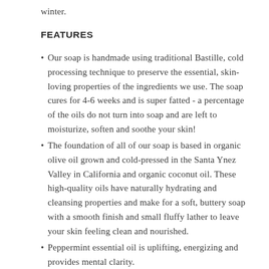winter.
FEATURES
Our soap is handmade using traditional Bastille, cold processing technique to preserve the essential, skin-loving properties of the ingredients we use. The soap cures for 4-6 weeks and is super fatted - a percentage of the oils do not turn into soap and are left to moisturize, soften and soothe your skin!
The foundation of all of our soap is based in organic olive oil grown and cold-pressed in the Santa Ynez Valley in California and organic coconut oil. These high-quality oils have naturally hydrating and cleansing properties and make for a soft, buttery soap with a smooth finish and small fluffy lather to leave your skin feeling clean and nourished.
Peppermint essential oil is uplifting, energizing and provides mental clarity.